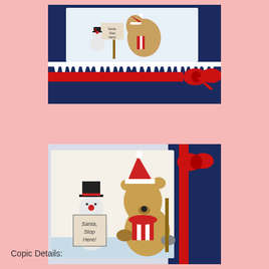[Figure (photo): Close-up of a handmade Christmas card on a pink background. The card has a dark navy blue base with a red ribbon/bow on the right side. A panel shows a teddy bear and snowman illustration with icicle decorations along the bottom edge of the dark navy layer.]
[Figure (photo): Close-up of a colored illustration showing a teddy bear wearing a Santa hat and red and white striped scarf, holding a sign. A snowman with a black top hat and red nose holds a sign reading 'Santa, Stop Here!' The card has a navy blue border and red ribbon visible at the edge. The illustration appears to be colored with Copic markers.]
Copic Details: